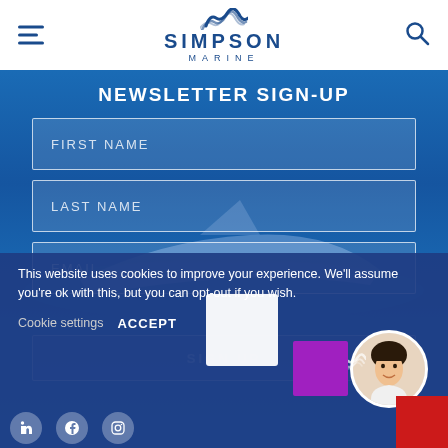Simpson Marine
NEWSLETTER SIGN-UP
FIRST NAME
LAST NAME
EMAIL
SIGN UP
This website uses cookies to improve your experience. We'll assume you're ok with this, but you can opt-out if you wish.
Cookie settings  ACCEPT